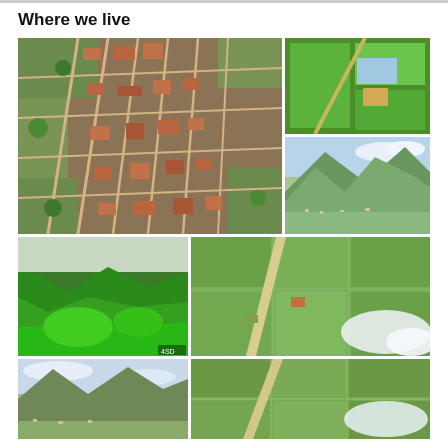Where we live
[Figure (photo): Aerial view of a small town with grid street pattern surrounded by farmland and vegetation]
[Figure (photo): Aerial view of green rice fields with a building/facility visible]
[Figure (photo): Landscape view of mountains and valley with scattered settlements]
[Figure (photo): Aerial view of lush green forest/jungle hillside]
[Figure (photo): Aerial view of agricultural fields with road and clouds]
[Figure (photo): Mountain landscape with clouds and valley]